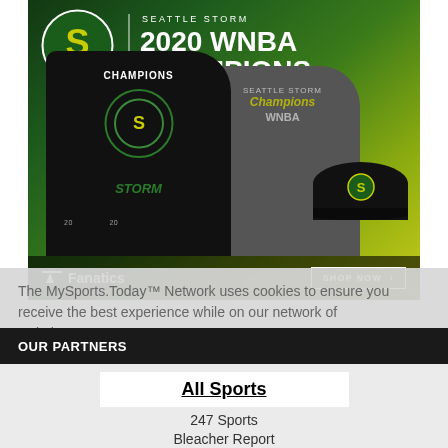[Figure (photo): Seattle Storm 2020 WNBA Champions Fanatics merchandise advertisement showing two black champion t-shirts and a black cap on a dark green to yellow-green gradient background. Text reads 'SEATTLE STORM 2020 WNBA CHAMPIONS'. Fanatics logo and 'SHOP NOW >' button at bottom.]
The MySports.Today™ Network uses cookies to ensure you receive the best experience while on our network of websites. Learn more
OUR PARTNERS
All Sports
247 Sports
Bleacher Report